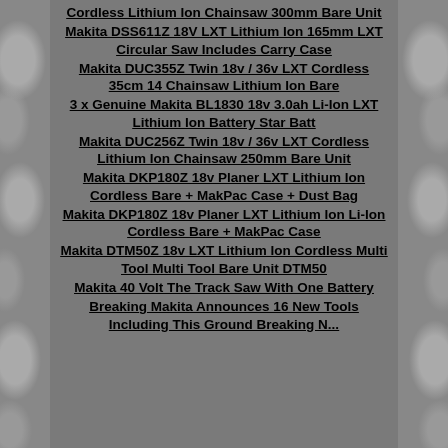Cordless Lithium Ion Chainsaw 300mm Bare Unit
Makita DSS611Z 18V LXT Lithium Ion 165mm LXT Circular Saw Includes Carry Case
Makita DUC355Z Twin 18v / 36v LXT Cordless 35cm 14 Chainsaw Lithium Ion Bare
3 x Genuine Makita BL1830 18v 3.0ah Li-Ion LXT Lithium Ion Battery Star Batt
Makita DUC256Z Twin 18v / 36v LXT Cordless Lithium Ion Chainsaw 250mm Bare Unit
Makita DKP180Z 18v Planer LXT Lithium Ion Cordless Bare + MakPac Case + Dust Bag
Makita DKP180Z 18v Planer LXT Lithium Ion Li-Ion Cordless Bare + MakPac Case
Makita DTM50Z 18v LXT Lithium Ion Cordless Multi Tool Multi Tool Bare Unit DTM50
Makita 40 Volt The Track Saw With One Battery
Breaking Makita Announces 16 New Tools Including This Ground Breaking N...